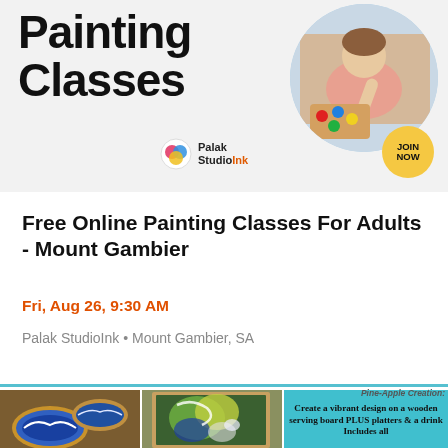[Figure (illustration): Banner ad for Palak StudioInk online painting classes showing bold text 'Painting Classes', a circular photo of a woman painting, a colorful palette logo, and a JOIN NOW button on yellow circle.]
Free Online Painting Classes For Adults - Mount Gambier
Fri, Aug 26, 9:30 AM
Palak StudioInk • Mount Gambier, SA
[Figure (photo): Bottom section showing two photos of resin/paint art on wooden boards and a teal panel with text 'Create a vibrant design on a wooden serving board PLUS platters & a drink Includes all']